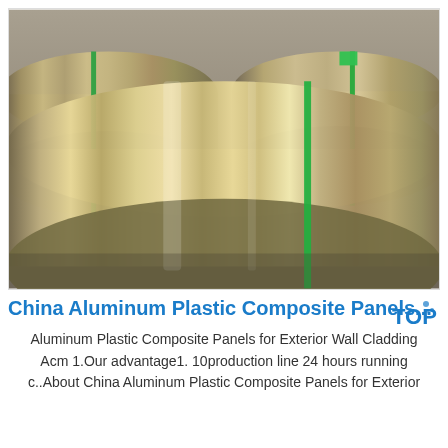[Figure (photo): Large rolls of aluminum/metallic sheet material (aluminum coils) stacked on a floor. The rolls are silver/gold metallic with green strapping bands wrapped around them. Background shows a concrete floor and wall.]
China Aluminum Plastic Composite Panels...
Aluminum Plastic Composite Panels for Exterior Wall Cladding Acm 1.Our advantage1. 10production line 24 hours running c..About China Aluminum Plastic Composite Panels for Exterior